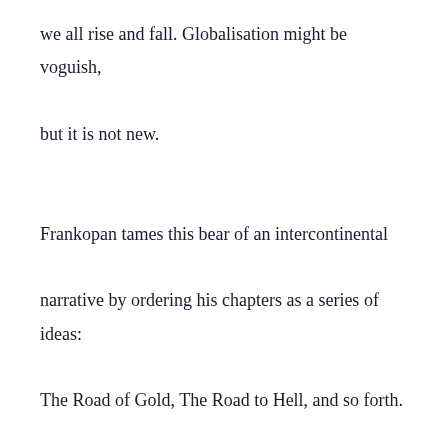we all rise and fall. Globalisation might be voguish, but it is not new.

Frankopan tames this bear of an intercontinental narrative by ordering his chapters as a series of ideas: The Road of Gold, The Road to Hell, and so forth. Throughout, he relies on tight economic analysis: silk was, after all, not simply a luxury good but an international currency, too. The environmental impact of the silk trade is also intelligently explored – he raises new evidence, drawn from the polar ice caps, that the fall of Rome caused pollution levels to drop